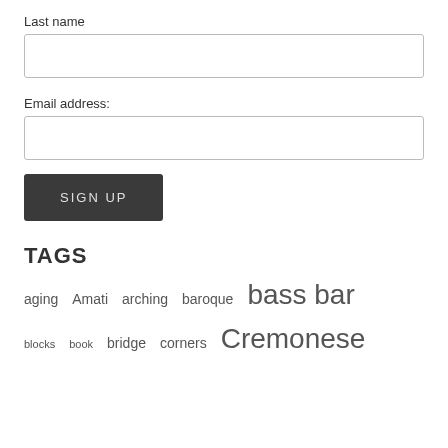Last name
[Figure (other): Empty text input box for Last name field]
Email address:
[Figure (other): Empty text input box for Email address field]
[Figure (other): SIGN UP button, dark grey background, white text]
TAGS
aging  Amati  arching  baroque  bass bar
blocks  book  bridge  corners  Cremonese